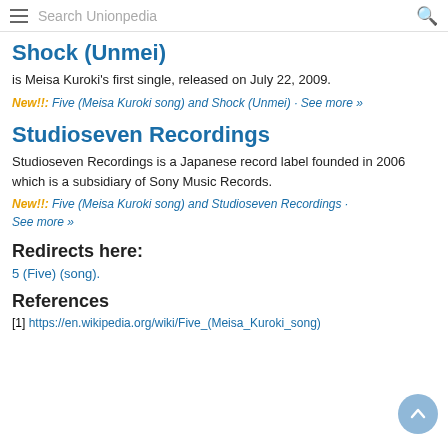Search Unionpedia
Shock (Unmei)
is Meisa Kuroki's first single, released on July 22, 2009.
New!!: Five (Meisa Kuroki song) and Shock (Unmei) · See more »
Studioseven Recordings
Studioseven Recordings is a Japanese record label founded in 2006 which is a subsidiary of Sony Music Records.
New!!: Five (Meisa Kuroki song) and Studioseven Recordings · See more »
Redirects here:
5 (Five) (song).
References
[1] https://en.wikipedia.org/wiki/Five_(Meisa_Kuroki_song)